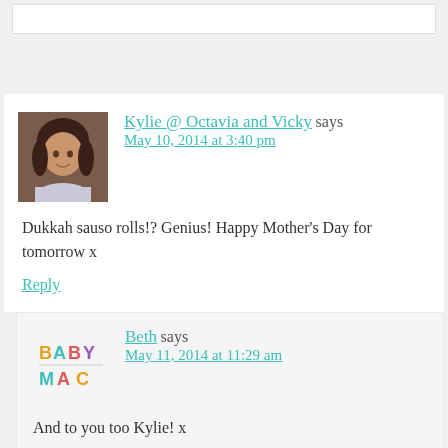[Figure (photo): Profile avatar of Kylie - woman with dark hair smiling]
Kylie @ Octavia and Vicky says
May 10, 2014 at 3:40 pm
Dukkah sauso rolls!? Genius! Happy Mother's Day for tomorrow x
Reply
[Figure (logo): Baby Mac logo - colorful text logo]
Beth says
May 11, 2014 at 11:29 am
And to you too Kylie! x
Reply